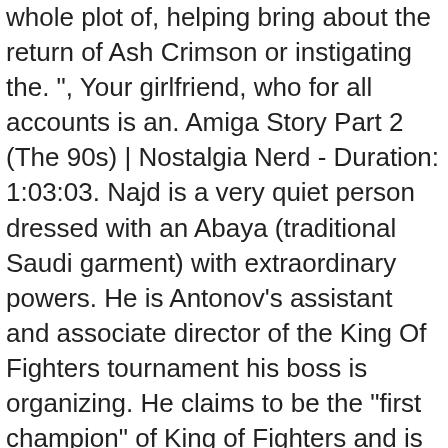delivered this in spades, and pretty much is the instigator of the whole plot of, helping bring about the return of Ash Crimson or instigating the. ", Your girlfriend, who for all accounts is an. Amiga Story Part 2 (The 90s) | Nostalgia Nerd - Duration: 1:03:03. Najd is a very quiet person dressed with an Abaya (traditional Saudi garment) with extraordinary powers. He is Antonov's assistant and associate director of the King Of Fighters tournament his boss is organizing. He claims to be the "first champion" of King of Fighters and is hosting the tournament this year. It's all fun and games until Athena destroys planet Vegita all over again. Permissions beyond the scope of this license may be available from thestaff@tvtropes.org. He has ideas and concepts hard to understand for the average person. It's just his imagination and he's on the other side of his opponent. until she finds Kyo and they have a more serious talk about how everyone misses him at home. only for the duo to fade into darkness again after they become champions. As the story has advanced beyond the